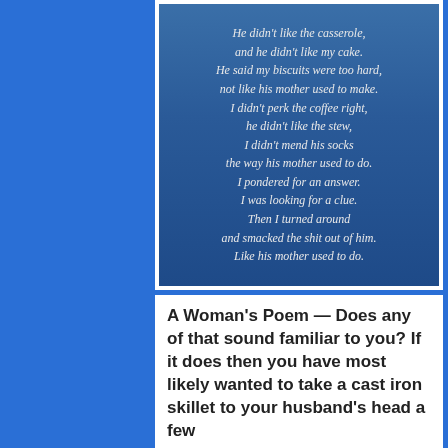[Figure (illustration): A blue gradient background image containing poem text in white/light italic font.]
A Woman's Poem — Does any of that sound familiar to you? If it does then you have most likely wanted to take a cast iron skillet to your husband's head a few